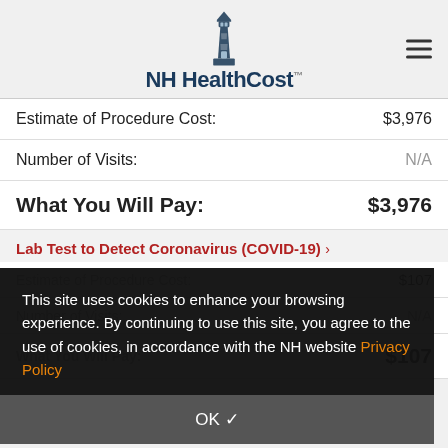[Figure (logo): NH HealthCost lighthouse logo with text]
| Label | Value |
| --- | --- |
| Estimate of Procedure Cost: | $3,976 |
| Number of Visits: | N/A |
| What You Will Pay: | $3,976 |
This site uses cookies to enhance your browsing experience. By continuing to use this site, you agree to the use of cookies, in accordance with the NH website Privacy Policy
OK ✓
Lab Test to Detect Coronavirus (COVID-19) >
| Label | Value |
| --- | --- |
| Estimate of Procedure Cost: | $107 |
| Number of Visits: | N/A |
| What You Will Pay: | $107 |